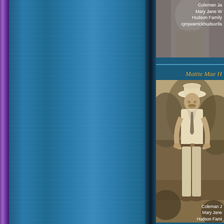[Figure (photo): Partial photograph visible at top right, appears to be a person, cropped at top edge of page]
Coleman Ja
Mary Jane W
Hudson Family
cjmjwarrickhudsonfa
Mattie Mae H
[Figure (photo): Sepia-toned historical photograph of a man wearing a white shirt, tie, light-colored pants, and a white hat, standing outdoors with trees in background]
Coleman J
Mary Jane
Hudson Fami